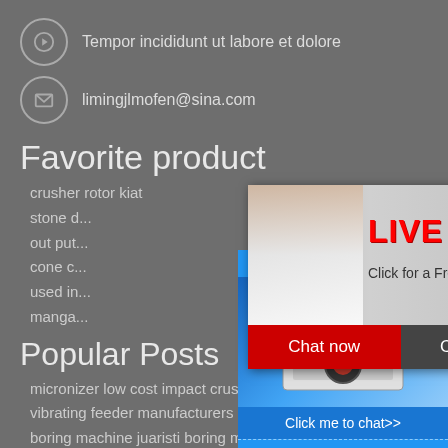Tempor incididunt ut labore et dolore
limingjlmofen@sina.com
Favorite product
crusher rotor kiat
stone d...
out put...
cone c...
used in...
manga...
[Figure (screenshot): Live chat popup overlay with photo of workers in yellow hard hats, LIVE CHAT text in red, 'Click for a Free Consultation', Chat now and Chat later buttons]
[Figure (screenshot): Right sidebar with blue background showing crusher machine image, 'hour online', 'Click me to chat>>', 'Enquiry', and 'limingjlmofen' text]
Popular Posts
micronizer low cost impact crusher cone
vibrating feeder manufacturers in in...
boring machine juaristi boring mach...
usa machine stone breaking crushi...